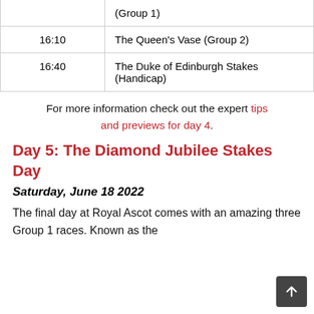| Time | Race |
| --- | --- |
|  | (Group 1) |
| 16:10 | The Queen's Vase (Group 2) |
| 16:40 | The Duke of Edinburgh Stakes (Handicap) |
For more information check out the expert tips and previews for day 4.
Day 5: The Diamond Jubilee Stakes Day
Saturday, June 18 2022
The final day at Royal Ascot comes with an amazing three Group 1 races. Known as the